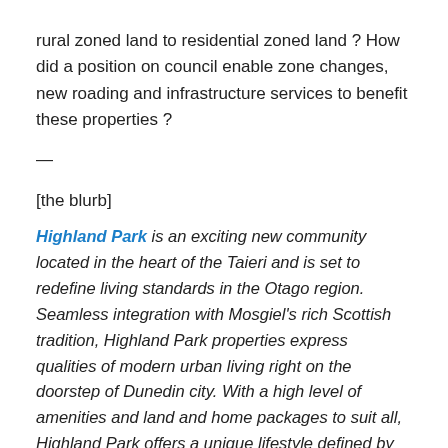rural zoned land to residential zoned land ? How did a position on council enable zone changes, new roading and infrastructure services to benefit these properties ?
—
[the blurb]
Highland Park is an exciting new community located in the heart of the Taieri and is set to redefine living standards in the Otago region. Seamless integration with Mosgiel's rich Scottish tradition, Highland Park properties express qualities of modern urban living right on the doorstep of Dunedin city. With a high level of amenities and land and home packages to suit all, Highland Park offers a unique lifestyle defined by openness, green spaces, and a nurtured sense of community.